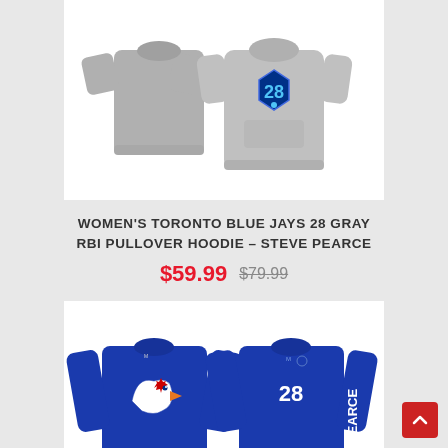[Figure (photo): Gray women's Toronto Blue Jays #28 RBI pullover hoodie shown front and back, with blue number 28 on home plate graphic]
WOMEN'S TORONTO BLUE JAYS 28 GRAY RBI PULLOVER HOODIE – STEVE PEARCE
$59.99  $79.99
[Figure (photo): Royal blue Toronto Blue Jays long sleeve t-shirt shown front and back, with Blue Jays logo on front and #28 PEARCE on back sleeve]